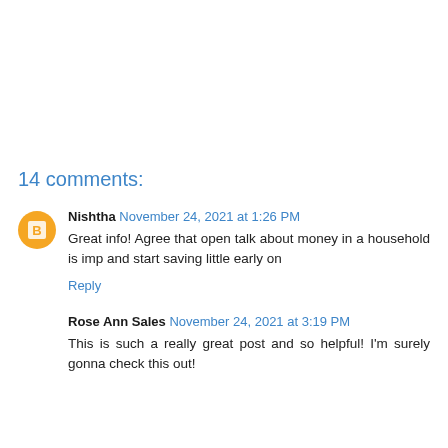14 comments:
Nishtha November 24, 2021 at 1:26 PM
Great info! Agree that open talk about money in a household is imp and start saving little early on
Reply
Rose Ann Sales November 24, 2021 at 3:19 PM
This is such a really great post and so helpful! I'm surely gonna check this out!